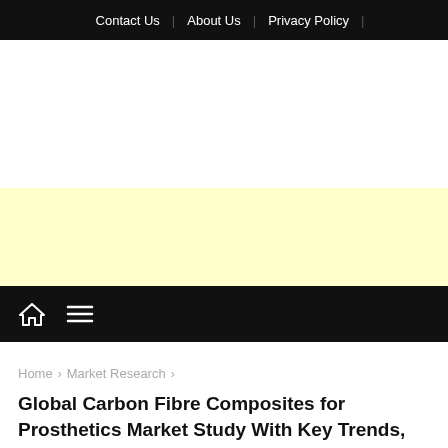Contact Us | About Us | Privacy Policy |
[Figure (other): White space area / advertisement placeholder (blank white background)]
[Figure (other): Yellow advertisement banner placeholder]
Navigation bar with home icon and hamburger menu
Home › Market Research ›
Global Carbon Fibre Composites for Prosthetics Market Study With Key Trends, Major Drivers And Challenges 2020-